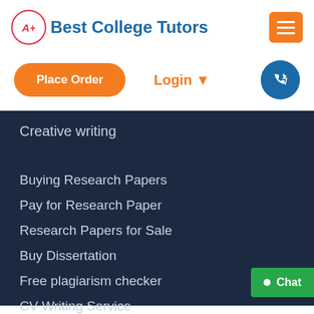[Figure (logo): A+ Best College Tutors logo with red circle A+ and blue bold text]
[Figure (other): Orange hamburger menu button with three white horizontal lines]
[Figure (other): Orange rounded Place Order button]
Login ▾
[Figure (other): Blue circle phone/callback icon button]
Creative writing
Buying Research Papers
Pay for Research Paper
Research Papers for Sale
Buy Dissertation
Free plagiarism checker
CV Writing Service
Free samples
Dissertation Help
Assignment Help
Chat